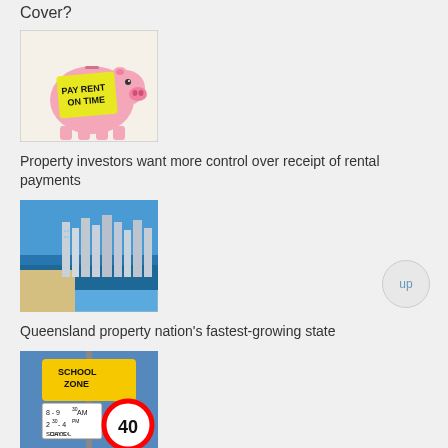Cover?
[Figure (photo): Pink piggy bank with a yellow sticky note reading 'Pay Rent On Time']
Property investors want more control over receipt of rental payments
[Figure (photo): Aerial view of coastal city (Gold Coast, Queensland) with beach and high-rise buildings]
Queensland property nation's fastest-growing state
[Figure (photo): Australian school zone sign showing times 8-9:30am and 2:30-4pm and 40 speed limit]
House prices in popular school zones soar as much as 46%